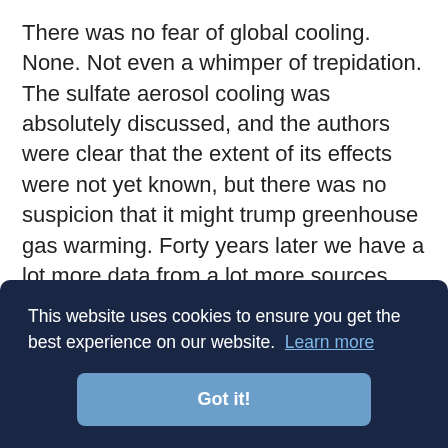There was no fear of global cooling. None. Not even a whimper of trepidation. The sulfate aerosol cooling was absolutely discussed, and the authors were clear that the extent of its effects were not yet known, but there was no suspicion that it might trump greenhouse gas warming. Forty years later we have a lot more data from a lot more sources around the world, and we've been able to focus the probabilities to tighter ranges. The foreword continued:
This website uses cookies to ensure you get the best experience on our website. Learn more
Got it!
that destined date, there will have been